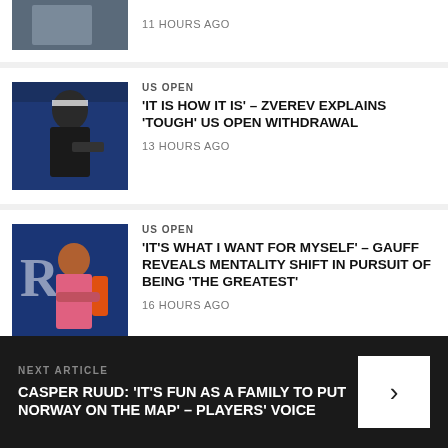[Figure (photo): Partial top article thumbnail - athlete photo, partially visible]
11 HOURS AGO
[Figure (photo): Alexander Zverev tennis player at US Open, wearing black adidas outfit, holding racket]
US OPEN
'IT IS HOW IT IS' - ZVEREV EXPLAINS 'TOUGH' US OPEN WITHDRAWAL
13 HOURS AGO
[Figure (photo): Coco Gauff at US Open in pink outfit with orange sleeve, pointing finger, R logo visible in background]
US OPEN
'IT'S WHAT I WANT FOR MYSELF' - GAUFF REVEALS MENTALITY SHIFT IN PURSUIT OF BEING 'THE GREATEST'
16 HOURS AGO
[Figure (photo): Novak Djokovic with another person, smiling]
US OPEN
DJOKOVIC'S US OPEN HOPES: KEY DATES AND WHY WITHDRAWAL
NEXT ARTICLE
CASPER RUUD: 'IT'S FUN AS A FAMILY TO PUT NORWAY ON THE MAP' - PLAYERS' VOICE